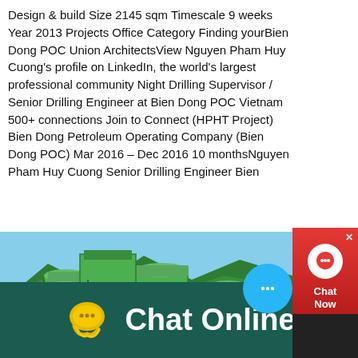Design & build Size 2145 sqm Timescale 9 weeks Year 2013 Projects Office Category Finding yourBien Dong POC Union ArchitectsView Nguyen Pham Huy Cuong's profile on LinkedIn, the world's largest professional community Night Drilling Supervisor / Senior Drilling Engineer at Bien Dong POC Vietnam 500+ connections Join to Connect (HPHT Project) Bien Dong Petroleum Operating Company (Bien Dong POC) Mar 2016 – Dec 2016 10 monthsNguyen Pham Huy Cuong Senior Drilling Engineer Bien
[Figure (photo): Green industrial mining/crushing machinery equipment with cylindrical tanks and structural framework, set against a mountainous forested background with blue sky.]
[Figure (infographic): Chat widget button - blue circular button with speech bubble dots icon on the right side of the photo.]
[Figure (infographic): Red and dark chat support widget on the right side with a headphone icon and 'Chat Now' label, with an X close button.]
Chat Online